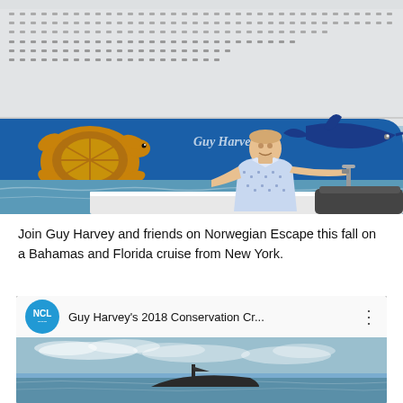[Figure (photo): Guy Harvey standing on a boat in front of the Norwegian Escape cruise ship, which features his marine artwork including a sea turtle and marlin on the hull. The ship is docked near open water.]
Join Guy Harvey and friends on Norwegian Escape this fall on a Bahamas and Florida cruise from New York.
[Figure (screenshot): YouTube video thumbnail showing NCL (Norwegian Cruise Line) logo and title 'Guy Harvey's 2018 Conservation Cr...' with a preview image of a boat on water.]